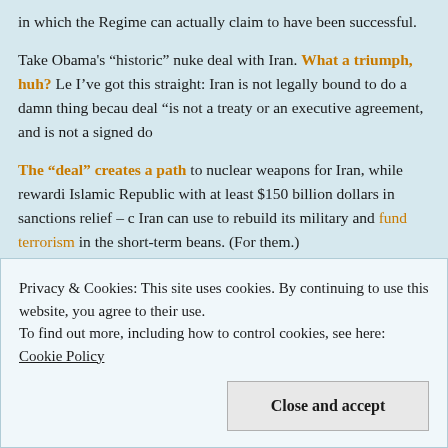in which the Regime can actually claim to have been successful.
Take Obama's “historic” nuke deal with Iran. What a triumph, huh? Le I’ve got this straight: Iran is not legally bound to do a damn thing becau deal “is not a treaty or an executive agreement, and is not a signed do
The “deal” creates a path to nuclear weapons for Iran, while rewardi Islamic Republic with at least $150 billion dollars in sanctions relief – c Iran can use to rebuild its military and fund terrorism in the short-term beans. (For them.)
Not sure what we get out of the deal, but an Obama official told congr year that its success “will depend not on whether it is legally binding o but rather on the extensive verification measures” and our “capacity t reimpose and ramp up our sanctions if Iran does not meet its commitm
Privacy & Cookies: This site uses cookies. By continuing to use this website, you agree to their use.
To find out more, including how to control cookies, see here: Cookie Policy
Close and accept